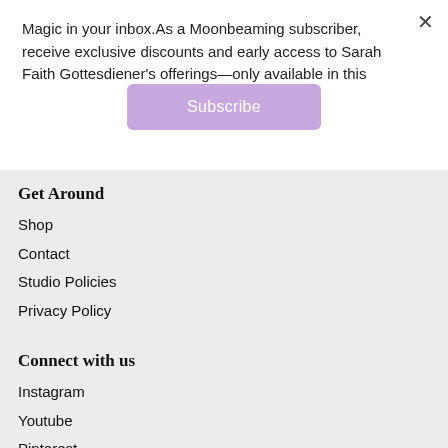Magic in your inbox.As a Moonbeaming subscriber, receive exclusive discounts and early access to Sarah Faith Gottesdiener's offerings—only available in this
Subscribe
Get Around
Shop
Contact
Studio Policies
Privacy Policy
Connect with us
Instagram
Youtube
Pinterest